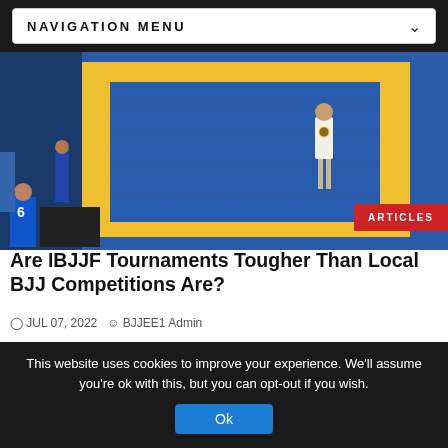NAVIGATION MENU
[Figure (photo): BJJ tournament venue with blue and yellow mats; a competitor in a white gi stands on the mat, with spectators visible on the left side.]
Are IBJJF Tournaments Tougher Than Local BJJ Competitions Are?
JUL 07, 2022  BJJEE1 Admin
Perhaps you've competed in Brazilian Jiu-Jitsu before… In smaller, local tournaments. And perhaps you've done well at them – or, maybe, you haven't done well at all. But...
This website uses cookies to improve your experience. We'll assume you're ok with this, but you can opt-out if you wish.